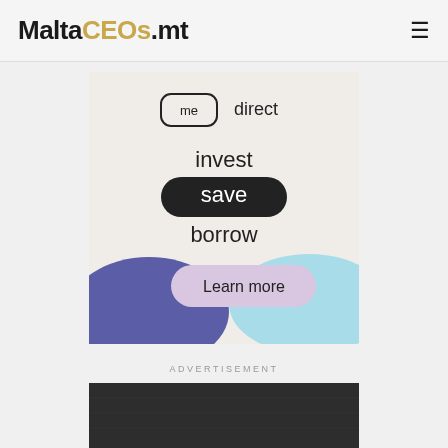MaltaCEOs.mt
[Figure (screenshot): MeDirect bank advertisement showing 'me direct' logo with text 'invest save borrow' and a 'Learn more' button, with decorative blue/purple wave shapes at the bottom]
ADVERTISEMENT
[Figure (photo): Partial photo visible at the bottom of the page, appears to be a dark textured image with partial text below it]